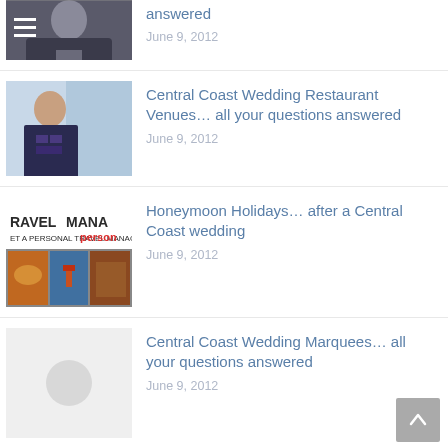[Figure (screenshot): Partial thumbnail of person in dark suit at top of page, with hamburger menu icon overlay]
answered
June 9, 2012
[Figure (photo): Woman in dark top sitting at a table near a window]
Central Coast Wedding Restaurant Venues… all your questions answered
June 9, 2012
[Figure (screenshot): TravelMana personal travel manager advertisement with travel imagery]
Honeymoon Holidays… after a Central Coast wedding
June 9, 2012
[Figure (photo): Gray placeholder image with circular icon]
Central Coast Wedding Marquees… all your questions answered
June 9, 2012